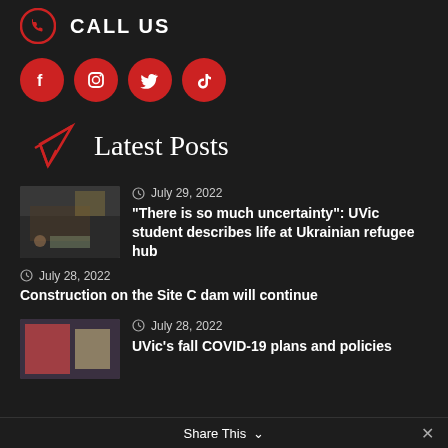CALL US
[Figure (illustration): Row of four red circular social media icons: Facebook, Instagram, Twitter, TikTok]
Latest Posts
July 29, 2022
“There is so much uncertainty”: UVic student describes life at Ukrainian refugee hub
July 28, 2022
Construction on the Site C dam will continue
July 28, 2022
UVic’s fall COVID-19 plans and policies
Share This